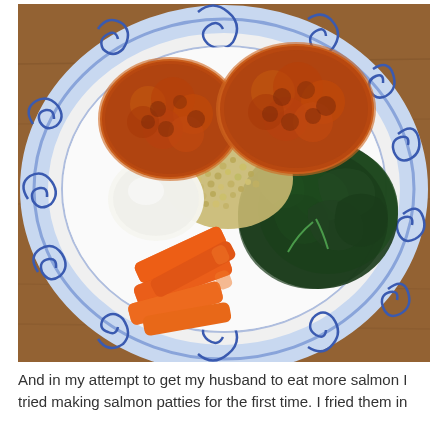[Figure (photo): A white plate with blue decorative swirl pattern around the rim, containing two golden-brown salmon patties at the top, a pile of cooked quinoa in the center, a dollop of white sauce/hummus on the left, several raw carrot sticks in the lower-left, and a mound of sautéed dark green spinach on the right side. The plate sits on a wooden table surface.]
And in my attempt to get my husband to eat more salmon I tried making salmon patties for the first time. I fried them in